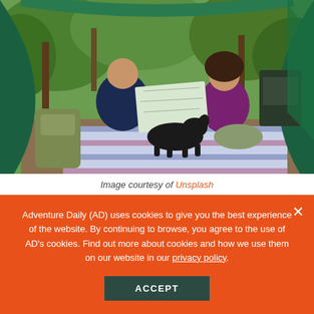[Figure (photo): A man and woman sitting inside a tent on a plaid blanket, looking at a map together. A black dog stands between them. Green foliage and trees visible in the background. Camping backpack and gear visible. Green camping chair in the background.]
Image courtesy of Unsplash
Adventure Daily (AD) uses cookies to give you the best experience of the website. By continuing to browse, you agree to the use of AD's cookies. Find out more about cookies and how we use them on our website in our privacy policy.
ACCEPT